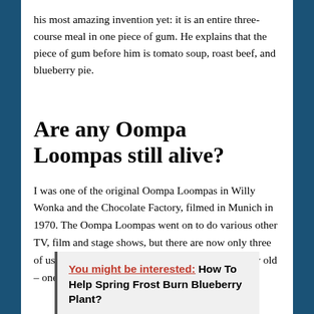his most amazing invention yet: it is an entire three-course meal in one piece of gum. He explains that the piece of gum before him is tomato soup, roast beef, and blueberry pie.
Are any Oompa Loompas still alive?
I was one of the original Oompa Loompas in Willy Wonka and the Chocolate Factory, filmed in Munich in 1970. The Oompa Loompas went on to do various other TV, film and stage shows, but there are now only three of us alive. Some of the Oompa Loompas were very old – one was in his 70s back then.
You might be interested: How To Help Spring Frost Burn Blueberry Plant?